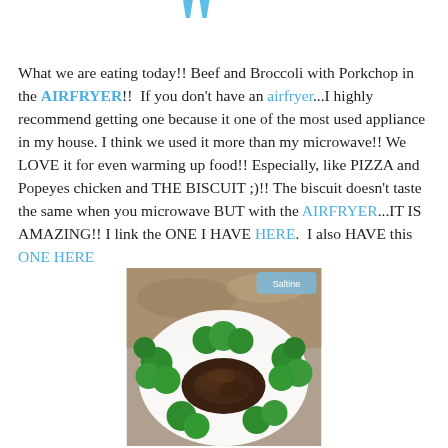[Figure (illustration): Large blue decorative quotation mark at the top center of the page]
What we are eating today!! Beef and Broccoli with Porkchop in the AIRFRYER!!  If you don't have an airfryer...I highly recommend getting one because it one of the most used appliance in my house. I think we used it more than my microwave!! We LOVE it for even warming up food!! Especially, like PIZZA and Popeyes chicken and THE BISCUIT ;)!! The biscuit doesn't taste the same when you microwave BUT with the AIRFRYER...IT IS AMAZING!! I link the ONE I HAVE HERE.  I also HAVE this ONE HERE
[Figure (photo): A plate of Beef and Broccoli dish seen from above, showing green broccoli florets and braised beef on a white plate]